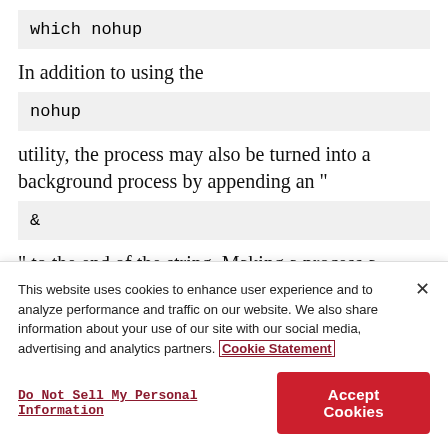which nohup
In addition to using the
nohup
utility, the process may also be turned into a background process by appending an "
&
" to the end of the string. Making a process a background process allows for the process to
This website uses cookies to enhance user experience and to analyze performance and traffic on our website. We also share information about your use of our site with our social media, advertising and analytics partners. Cookie Statement
Do Not Sell My Personal Information
Accept Cookies